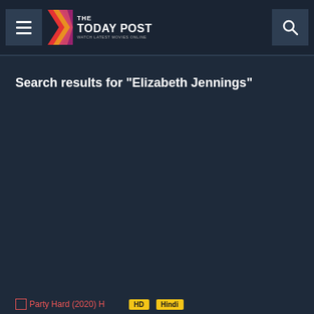The Today Post - Watch Latest Movies Online
Search results for "Elizabeth Jennings"
Party Hard (2020) HD Hindi